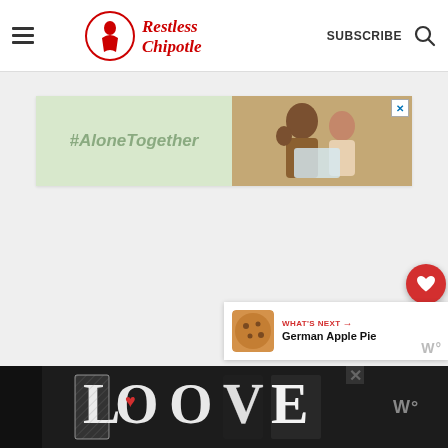Restless Chipotle — SUBSCRIBE
[Figure (screenshot): Advertisement banner with #AloneTogether hashtag on green background and photo of father and child on right]
[Figure (other): Red circular heart/favorite button floating on right side]
[Figure (other): White circular share button floating on right side]
[Figure (other): What's Next panel showing German Apple Pie with cookie thumbnail]
[Figure (other): LOVE decorative text graphic at bottom of page in black and white illustration style]